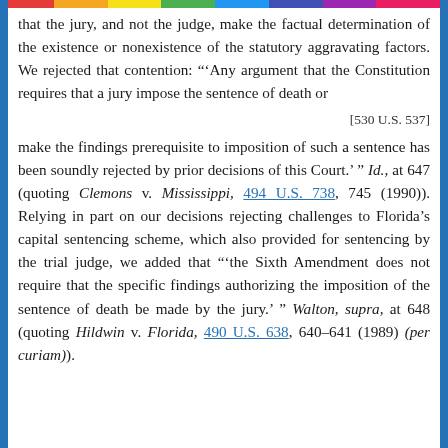that the jury, and not the judge, make the factual determination of the existence or nonexistence of the statutory aggravating factors. We rejected that contention: "'Any argument that the Constitution requires that a jury impose the sentence of death or
[530 U.S. 537]
make the findings prerequisite to imposition of such a sentence has been soundly rejected by prior decisions of this Court.' " Id., at 647 (quoting Clemons v. Mississippi, 494 U.S. 738, 745 (1990)). Relying in part on our decisions rejecting challenges to Florida's capital sentencing scheme, which also provided for sentencing by the trial judge, we added that "'the Sixth Amendment does not require that the specific findings authorizing the imposition of the sentence of death be made by the jury.' " Walton, supra, at 648 (quoting Hildwin v. Florida, 490 U.S. 638, 640-641 (1989) (per curiam)).